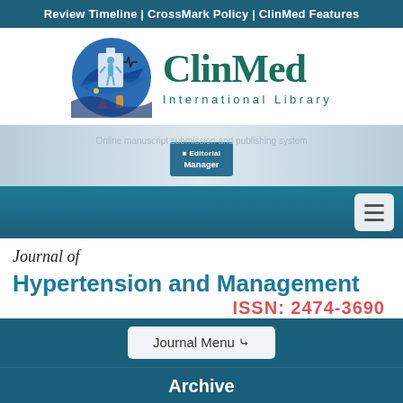Review Timeline | CrossMark Policy | ClinMed Features
[Figure (logo): ClinMed International Library logo with circular medical illustration and teal ClinMed wordmark]
[Figure (screenshot): Editorial Manager banner for online manuscript submission and publishing system]
Journal of
Hypertension and Management
ISSN: 2474-3690
Journal Menu ꜝ
Archive